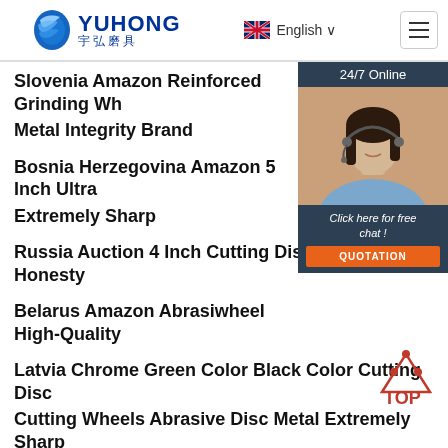YUHONG 宇弘磨具 | English | Menu
[Figure (screenshot): Customer service chat widget with '24/7 Online' label, photo of woman with headset, 'Click here for free chat!' text, and orange QUOTATION button]
Slovenia Amazon Reinforced Grinding Wh Metal Integrity Brand
Bosnia Herzegovina Amazon 5 Inch Ultra Extremely Sharp
Russia Auction 4 Inch Cutting Discs Metal Honesty
Belarus Amazon Abrasiwheel High-Quality
Latvia Chrome Green Color Black Color Cutting Disc
Cutting Wheels Abrasive Disc Metal Extremely Sharp